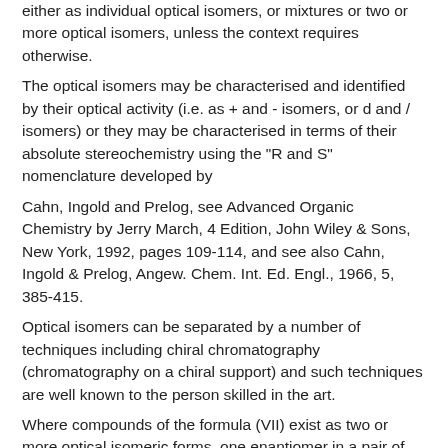either as individual optical isomers, or mixtures or two or more optical isomers, unless the context requires otherwise.
The optical isomers may be characterised and identified by their optical activity (i.e. as + and - isomers, or d and / isomers) or they may be characterised in terms of their absolute stereochemistry using the "R and S" nomenclature developed by
Cahn, Ingold and Prelog, see Advanced Organic Chemistry by Jerry March, 4 Edition, John Wiley & Sons, New York, 1992, pages 109-114, and see also Cahn, Ingold & Prelog, Angew. Chem. Int. Ed. Engl., 1966, 5, 385-415.
Optical isomers can be separated by a number of techniques including chiral chromatography (chromatography on a chiral support) and such techniques are well known to the person skilled in the art.
Where compounds of the formula (VII) exist as two or more optical isomeric forms, one enantiomer in a pair of enantiomers may exhibit advantages over the other enantiomer, for example, in terms of biological activity. Thus, in certain circumstances, it may be desirable to